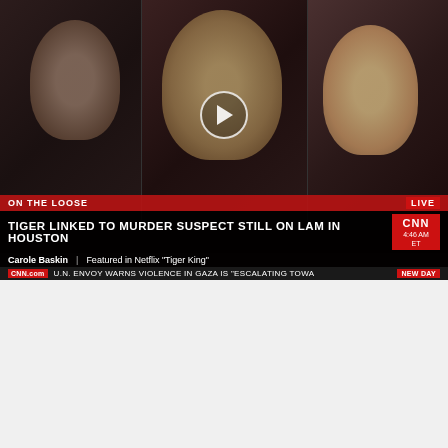[Figure (screenshot): CNN news broadcast screenshot showing three panels: left panel with male anchor in suit, center panel with Carole Baskin speaking, right panel with female anchor. Lower thirds show 'ON THE LOOSE' banner, headline 'TIGER LINKED TO MURDER SUSPECT STILL ON LAM IN HOUSTON', name bar 'Carole Baskin | Featured in Netflix Tiger King', ticker bar with CNN.com and 'U.N. ENVOY WARNS VIOLENCE IN GAZA IS ESCALATING TOWA', LIVE badge, CNN logo, timestamp 4:46 AM ET, NEW DAY badge. Red banner below reads 'DEADLY SITUATION'.]
CNN
As we reported ... 'Tiger King' star Carole Baskin put Texas Senators Ted Cruz and John Cornyn on blast earlier this week for allowing such a situation to unfold in the state in the first place.